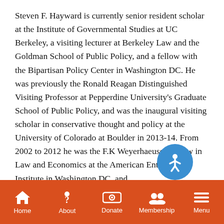Steven F. Hayward is currently senior resident scholar at the Institute of Governmental Studies at UC Berkeley, a visiting lecturer at Berkeley Law and the Goldman School of Public Policy, and a fellow with the Bipartisan Policy Center in Washington DC. He was previously the Ronald Reagan Distinguished Visiting Professor at Pepperdine University's Graduate School of Public Policy, and was the inaugural visiting scholar in conservative thought and policy at the University of Colorado at Boulder in 2013-14. From 2002 to 2012 he was the F.K Weyerhaeuser Fellow in Law and Economics at the American Enterprise Institute in Washington DC, and
Home | About | Donate | Membership | Menu